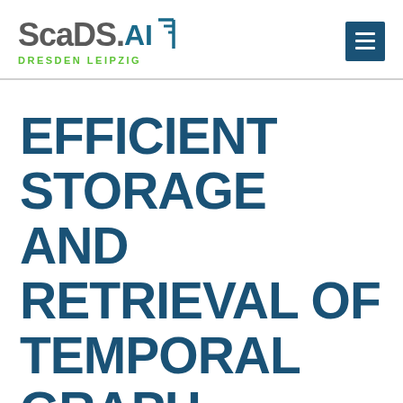[Figure (logo): ScaDS.AI Dresden Leipzig logo with teal bracket/chart icon and green subtitle text]
EFFICIENT STORAGE AND RETRIEVAL OF TEMPORAL GRAPH